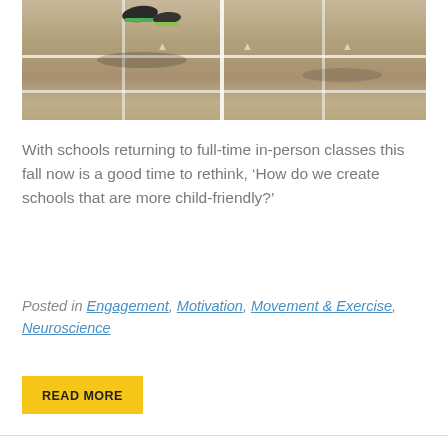[Figure (photo): A child's feet/shoes on a school running track with white lane markings painted on pavement]
With schools returning to full-time in-person classes this fall now is a good time to rethink, ‘How do we create schools that are more child-friendly?’
Posted in Engagement, Motivation, Movement & Exercise, Neuroscience
READ MORE